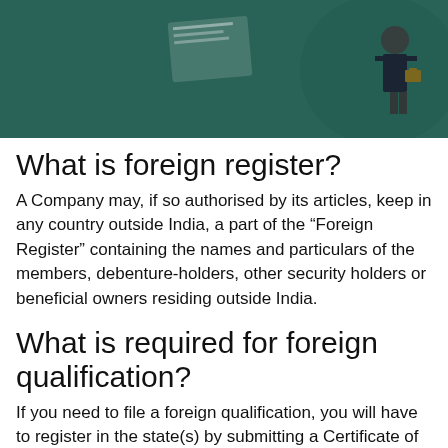[Figure (illustration): Banner image with teal/green background showing text 'BUSINESS PERMIT' in yellow and 'BIR Permit' in white italic bold, with illustrated figures of business people on the right side]
What is foreign register?
A Company may, if so authorised by its articles, keep in any country outside India, a part of the “Foreign Register” containing the names and particulars of the members, debenture-holders, other security holders or beneficial owners residing outside India.
What is required for foreign qualification?
If you need to file a foreign qualification, you will have to register in the state(s) by submitting a Certificate of Authority